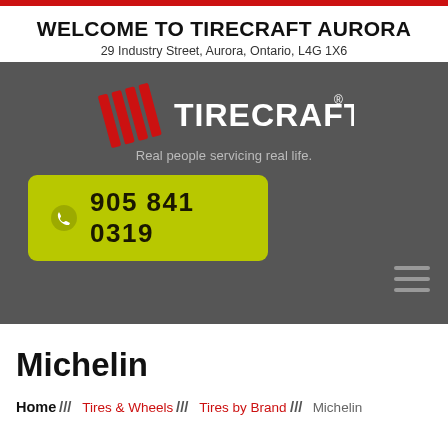WELCOME TO TIRECRAFT AURORA
29 Industry Street, Aurora, Ontario, L4G 1X6
[Figure (logo): Tirecraft logo with red diagonal stripes and white TIRECRAFT text on dark grey background, tagline: Real people servicing real life.]
905 841 0319
Michelin
Home /// Tires & Wheels /// Tires by Brand /// Michelin